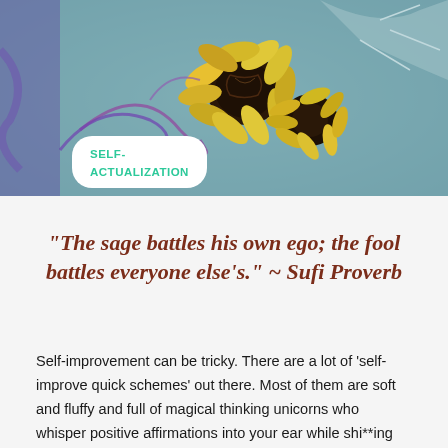[Figure (illustration): Colorful abstract illustration of sunflowers with purple, yellow, teal and brown tones]
SELF-ACTUALIZATION
“The sage battles his own ego; the fool battles everyone else’s.” ~ Sufi Proverb
Self-improvement can be tricky. There are a lot of ‘self-improve quick schemes’ out there. Most of them are soft and fluffy and full of magical thinking unicorns who whisper positive affirmations into your ear while shi**ing out rainbows. They are well-intended but most of them don’t get into the nitty-gritty that real self-improvement requires.